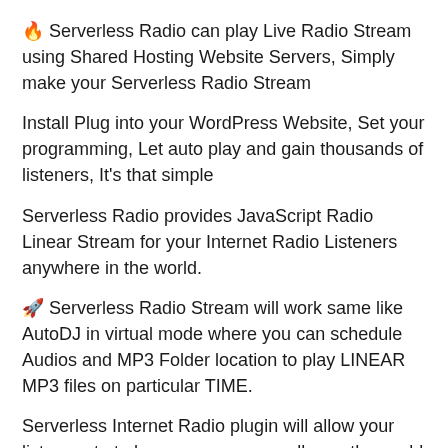🔥 Serverless Radio can play Live Radio Stream using Shared Hosting Website Servers, Simply make your Serverless Radio Stream
Install Plug into your WordPress Website, Set your programming, Let auto play and gain thousands of listeners, It's that simple
Serverless Radio provides JavaScript Radio Linear Stream for your Internet Radio Listeners anywhere in the world.
🚀 Serverless Radio Stream will work same like AutoDJ in virtual mode where you can schedule Audios and MP3 Folder location to play LINEAR MP3 files on particular TIME.
Serverless Internet Radio plugin will allow your listeners to to hear your program all over the world and you don't even have to be LIVE at a radio station!